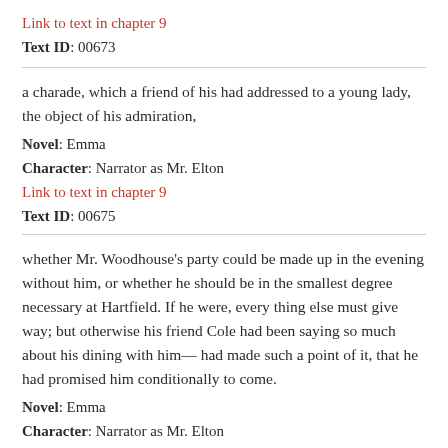Link to text in chapter 9
Text ID: 00673
a charade, which a friend of his had addressed to a young lady, the object of his admiration,
Novel: Emma
Character: Narrator as Mr. Elton
Link to text in chapter 9
Text ID: 00675
whether Mr. Woodhouse's party could be made up in the evening without him, or whether he should be in the smallest degree necessary at Hartfield. If he were, every thing else must give way; but otherwise his friend Cole had been saying so much about his dining with him— had made such a point of it, that he had promised him conditionally to come.
Novel: Emma
Character: Narrator as Mr. Elton
Link to text in chapter 9
Text ID: 00808